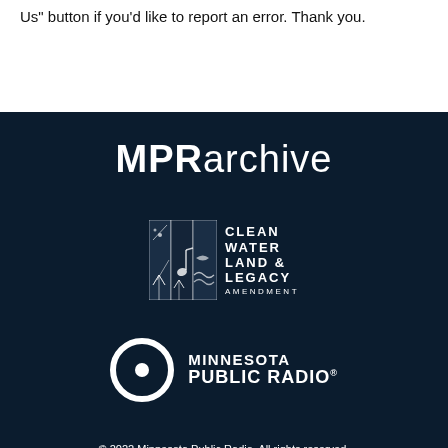Us" button if you'd like to report an error. Thank you.
[Figure (logo): MPRarchive logo in white bold text on dark navy background]
[Figure (logo): Clean Water Land & Legacy Amendment logo with illustrated panels and text]
[Figure (logo): Minnesota Public Radio logo with circle/ring icon and bold text]
© 2022 Minnesota Public Radio. All rights reserved. Terms and Conditions   Privacy Policy